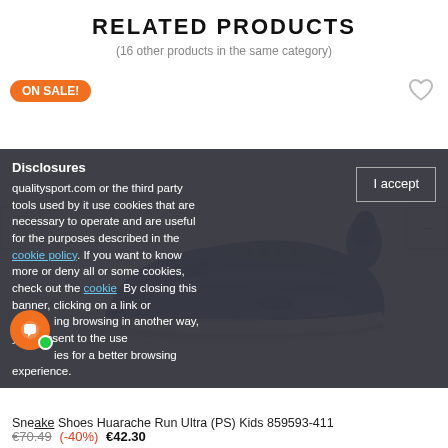RELATED PRODUCTS
(16 other products in the same category)
[Figure (photo): Blue Nike Huarache Run Ultra (PS) Kids sneaker on white background, shown from the side. Orange ON SALE! badge top-left, heart/wishlist icon top-right. Left and right navigation arrows on sides.]
Disclosures
qualitysport.com or the third party tools used by it use cookies that are necessary to operate and are useful for the purposes described in the cookie policy. If you want to know more or deny all or some cookies, check out the cookie  By closing this banner, clicking on a link or ing browsing in another way, you consent to the use ies for a better browsing experience.
I accept
Sneake Shoes Huarache Run Ultra (PS) Kids 859593-411
€70.49 (-40%) €42.30